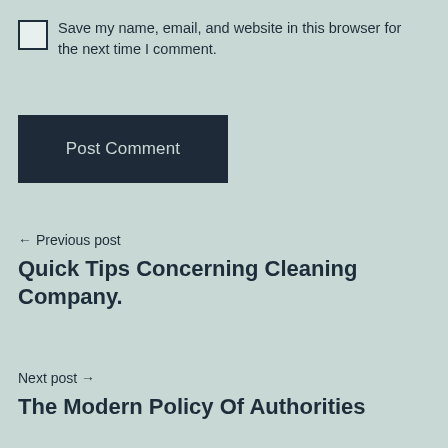Save my name, email, and website in this browser for the next time I comment.
Post Comment
← Previous post
Quick Tips Concerning Cleaning Company.
Next post →
The Modern Policy Of Authorities